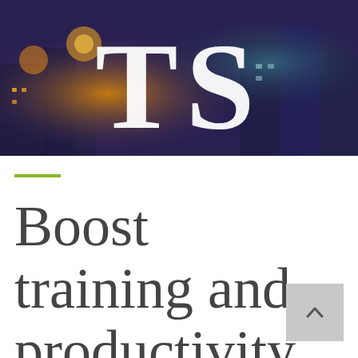[Figure (photo): Blurred night cityscape with lights and buildings, with large white 'TS' letters overlaid in the center]
Boost training and productivity in the field